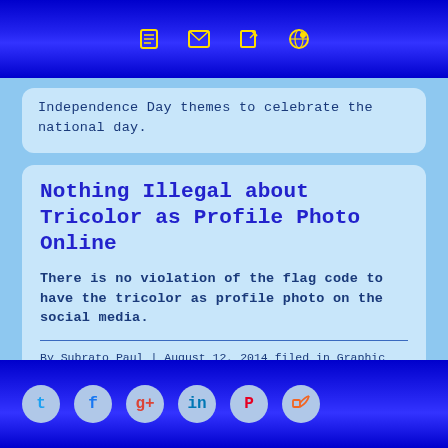[Navigation icons: phone, mail, edit, globe]
Independence Day themes to celebrate the national day.
Nothing Illegal about Tricolor as Profile Photo Online
There is no violation of the flag code to have the tricolor as profile photo on the social media.
By Subrato Paul | August 12, 2014 filed in Graphic Design, My India |
Tags: , badge, corner ribbon, cover images, edit my photo, facebook timeline cover, festival, general india, graphic design, India, indian independence day, indian national flag, jai hind, lag code, tricolor, Vande Mataram, watermark
Over the last couple of days
[Social icons: Twitter, Facebook, Google+, LinkedIn, Pinterest, RSS]